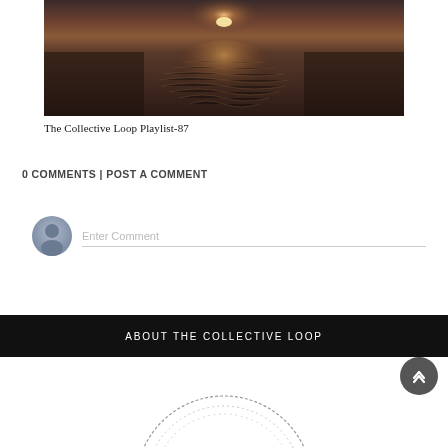[Figure (photo): Dark moody ocean sunset photo with light reflecting on water surface, brownish-purple tones]
The Collective Loop Playlist-87
0 COMMENTS | POST A COMMENT
[Figure (screenshot): Comment input field with user avatar icon on left and 'Enter Comment' placeholder text with underline]
ABOUT THE COLLECTIVE LOOP
[Figure (logo): Circular dashed logo at the bottom with a small icon in the center, partially visible]